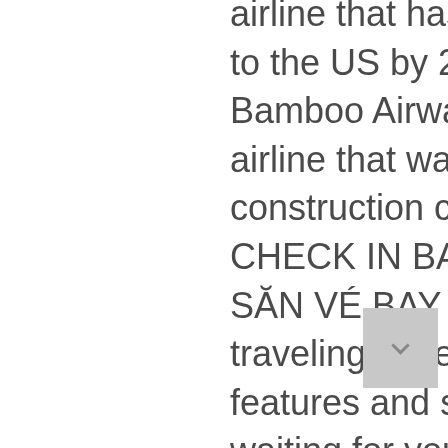airline that has ambitious goals to fly to the US by 2021. Founded in 2017, Bamboo Airways is a Vietnamese airline that was created by a construction company, FLC Group. CHECK IN BAMBOO AIRWAYS SĂN VÉ BAY MAY MẮN. Inspiring traveling experiences with smart features and superior services are waiting for you. Hãng hàng không Bamboo Airways Ä  ã má»  dá»  ch vá»¥ check-in online qua website nhá°±m tiá°¿t kiá»  m thá»  i gian làm thá»§ tá»¥c cho hành khách.